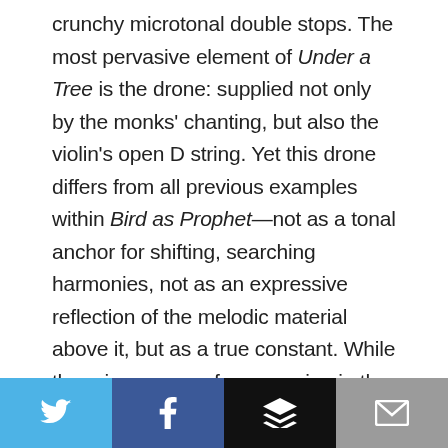crunchy microtonal double stops. The most pervasive element of Under a Tree is the drone: supplied not only by the monks' chanting, but also the violin's open D string. Yet this drone differs from all previous examples within Bird as Prophet—not as a tonal anchor for shifting, searching harmonies, not as an expressive reflection of the melodic material above it, but as a true constant. While there is a sense of progression in the violin part, it is always in relation to a cyclic, timeless backdrop, a paradox of stillness within movement.

Under a Tree, an Udātta finally grants the listener
[Figure (other): Social sharing bar with four buttons: Twitter (blue bird icon), Facebook (dark blue f icon), Buffer (black stacked layers icon), Email (grey envelope icon)]